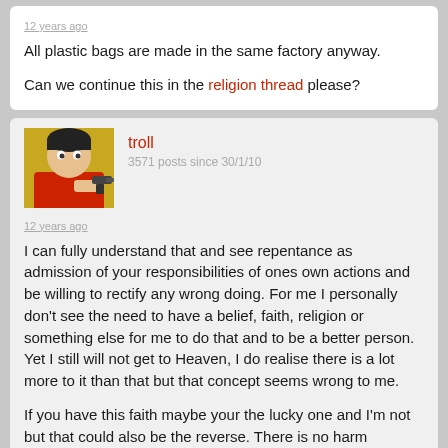12 years ago
All plastic bags are made in the same factory anyway.
Can we continue this in the religion thread please?
troll
3571 posts since 30/1/10
[Figure (illustration): Anime-style character pointing a gun at the viewer, with yellow background]
12 years ago
I can fully understand that and see repentance as admission of your responsibilities of ones own actions and be willing to rectify any wrong doing. For me I personally don't see the need to have a belief, faith, religion or something else for me to do that and to be a better person. Yet I still will not get to Heaven, I do realise there is a lot more to it than that but that concept seems wrong to me.
If you have this faith maybe your the lucky one and I'm not but that could also be the reverse. There is no harm